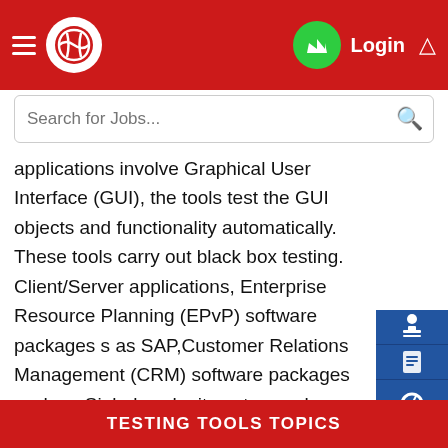Login
applications involve Graphical User Interface (GUI), the tools test the GUI objects and functionality automatically. These tools carry out black box testing. Client/Server applications, Enterprise Resource Planning (EPvP) software packages such as SAP,Customer Relations Management (CRM) software packages such as Siebel, web sites etc. can be tested for functionality using these tools. Whenever a change is made the software, the software needs to be retested and hence these tools are also called regression testing tools. Compuware's QACenter, Segue Software's SilkTest, IBM
TESTING TOOLS TOPICS